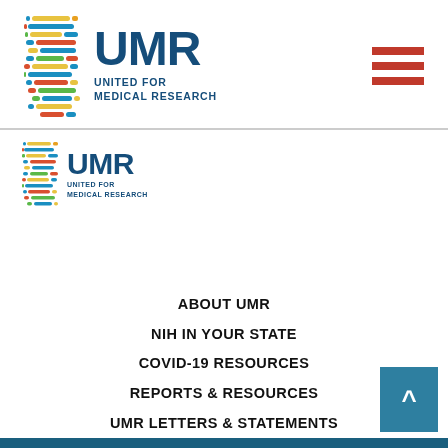[Figure (logo): UMR United for Medical Research logo — large version with DNA helix icon and UMR text]
[Figure (other): Hamburger menu icon — three red horizontal bars]
[Figure (logo): UMR United for Medical Research logo — small version]
ABOUT UMR
NIH IN YOUR STATE
COVID-19 RESOURCES
REPORTS & RESOURCES
UMR LETTERS & STATEMENTS
AMAZING THINGS PODCAST
CONTACT
MEMBER PORTAL
[Figure (other): Back-to-top button — dark blue square with upward chevron arrow]